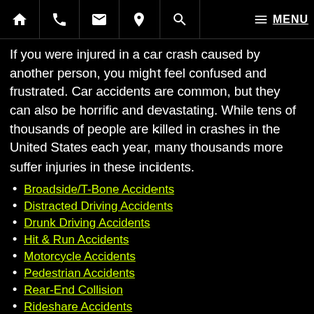Home | Phone | Email | Location | Search | Menu
If you were injured in a car crash caused by another person, you might feel confused and frustrated. Car accidents are common, but they can also be horrific and devastating. While tens of thousands of people are killed in crashes in the United States each year, many thousands more suffer injuries in these incidents.
Broadside/T-Bone Accidents
Distracted Driving Accidents
Drunk Driving Accidents
Hit & Run Accidents
Motorcycle Accidents
Pedestrian Accidents
Rear-End Collision
Rideshare Accidents
Rollover Accidents
Truck Accidents
Uninsured Driver Accidents